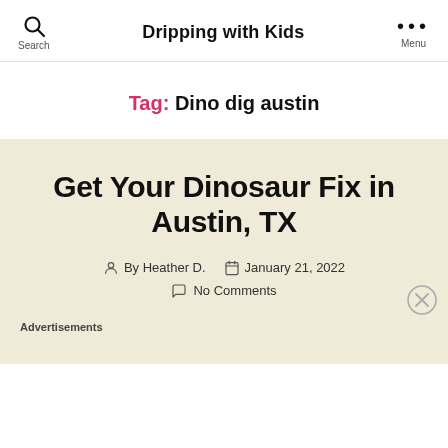Search   Dripping with Kids   Menu
Tag: Dino dig austin
Get Your Dinosaur Fix in Austin, TX
By Heather D.   January 21, 2022   No Comments
Advertisements